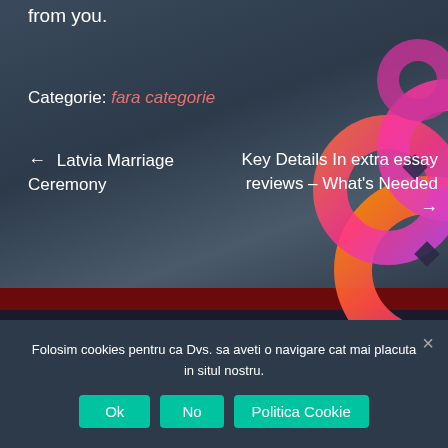from you.
Categorie: fara categorie
← Latvia Marriage Ceremony
Key Details In extra essay reviews – What's Needed →
[Figure (logo): Decorative overlapping circles logo in pink/orange/magenta gradient, top right corner]
Folosim cookies pentru ca Dvs. sa aveti o navigare cat mai placuta in situl nostru.
Ok  No  Politica Cookie